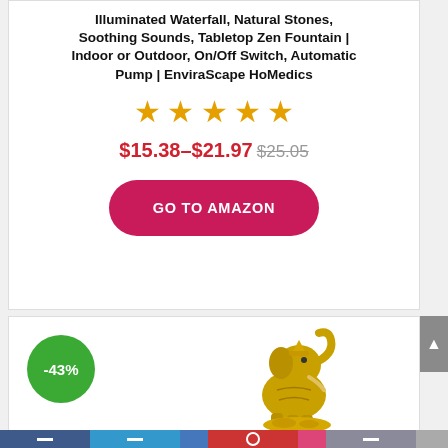Illuminated Waterfall, Natural Stones, Soothing Sounds, Tabletop Zen Fountain | Indoor or Outdoor, On/Off Switch, Automatic Pump | EnviraScape HoMedics
[Figure (other): Five gold/orange star rating icons]
$15.38–$21.97 $25.05
GO TO AMAZON
[Figure (photo): Gold-colored decorative elephant figurine on coins, with a -43% discount badge (green circle) in the top-left corner]
Navigation bar with social share icons